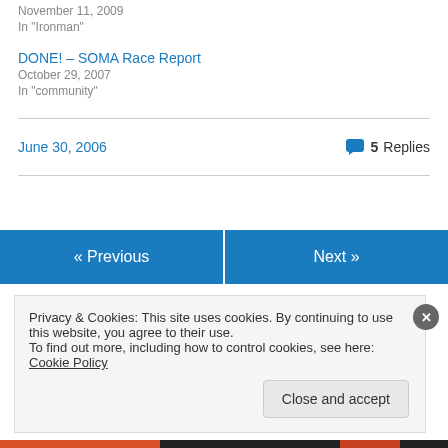November 11, 2009
In "Ironman"
DONE! – SOMA Race Report
October 29, 2007
In "community"
June 30, 2006
5 Replies
« Previous
Next »
Privacy & Cookies: This site uses cookies. By continuing to use this website, you agree to their use.
To find out more, including how to control cookies, see here: Cookie Policy
Close and accept